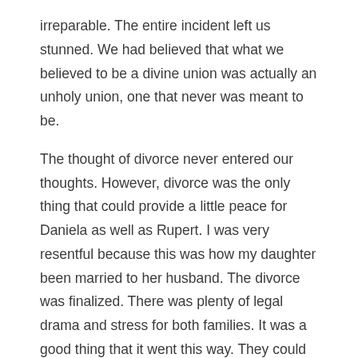irreparable. The entire incident left us stunned. We had believed that what we believed to be a divine union was actually an unholy union, one that never was meant to be.
The thought of divorce never entered our thoughts. However, divorce was the only thing that could provide a little peace for Daniela as well as Rupert. I was very resentful because this was how my daughter been married to her husband. The divorce was finalized. There was plenty of legal drama and stress for both families. It was a good thing that it went this way. They could no longer be together for long.
Following the events of divorce my mom, Daniela and I went for a trip. We were in dire for a break and looking to refresh our souls. We decided to go to India. We decided to go to India because I am deeply and continuously connected to the nation. My job often involves me in India and I've become fascinated of Indian culture. In India we made the decision to travel to New Delhi, Agra,